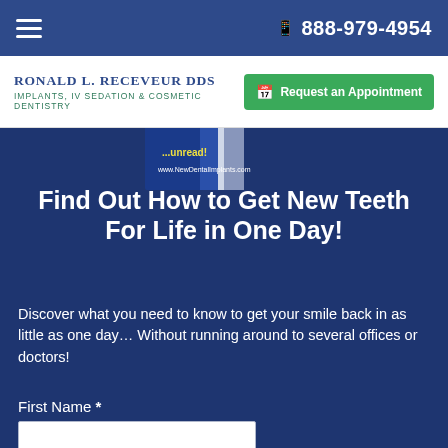☰  888-979-4954
[Figure (logo): Ronald L. Receveur DDS logo with 'Implants, IV Sedation & Cosmetic Dentistry' subtitle and green 'Request an Appointment' button]
[Figure (photo): Partial view of a blue dental implants book cover with website www.NewDentalImplants.com visible]
Find Out How to Get New Teeth For Life in One Day!
Discover what you need to know to get your smile back in as little as one day… Without running around to several offices or doctors!
First Name *
Email *